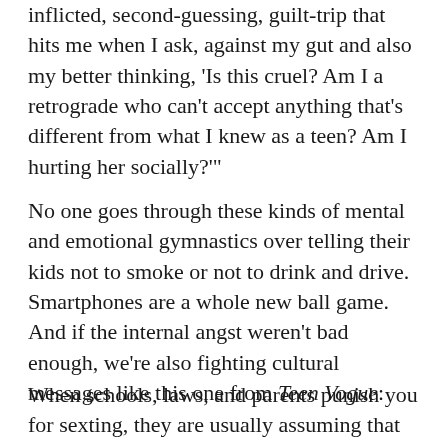inflicted, second-guessing, guilt-trip that hits me when I ask, against my gut and also my better thinking, 'Is this cruel? Am I a retrograde who can't accept anything that's different from what I knew as a teen? Am I hurting her socially?'"
No one goes through these kinds of mental and emotional gymnastics over telling their kids not to smoke or not to drink and drive. Smartphones are a whole new ball game. And if the internal angst weren't bad enough, we're also fighting cultural messages like this one from Teen Vogue:
When schools, laws, and parents punish you for sexting, they are usually assuming that the best